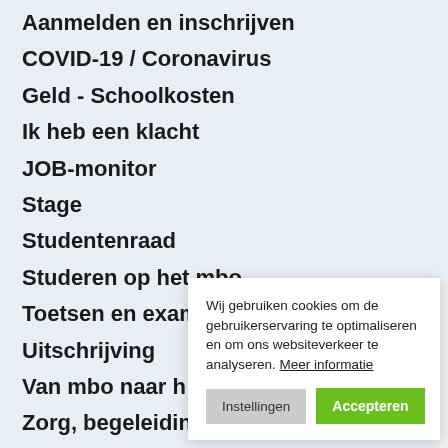Aanmelden en inschrijven
COVID-19 / Coronavirus
Geld - Schoolkosten
Ik heb een klacht
JOB-monitor
Stage
Studentenraad
Studeren op het mbo
Toetsen en examens
Uitschrijving
Van mbo naar h...
Zorg, begeleidin...
Wij gebruiken cookies om de gebruikerservaring te optimaliseren en om ons websiteverkeer te analyseren. Meer informatie
Instellingen | Accepteren